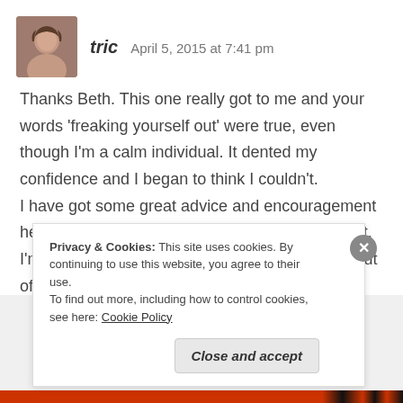[Figure (photo): Small avatar photo of a person, used as commenter profile image]
tric   April 5, 2015 at 7:41 pm
Thanks Beth. This one really got to me and your words ‘freaking yourself out’ were true, even though I’m a calm individual. It dented my confidence and I began to think I couldn’t.
I have got some great advice and encouragement here, so come Tuesday I’m going to go back to it.
I’m trying to stay away until then to try to climb out of the rut.
Privacy & Cookies: This site uses cookies. By continuing to use this website, you agree to their use.
To find out more, including how to control cookies, see here: Cookie Policy
Close and accept